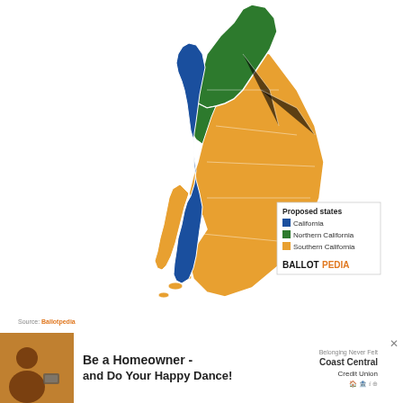[Figure (map): Map of California divided into three proposed states: California (blue, coastal strip including LA area), Northern California (green, upper portion), and Southern California (orange, inland and southern areas). Legend shows color coding for each proposed state.]
Source: Ballotpedia
Ballotpedia
Are voters ready for a three-state solutions to California?
A lawsuit filed with the California Supreme Court this week is challenging the placement of a controversial initiative to divide the state into three on the November ballot less than one month after it was signed off on by the Secretary of State's Office.
According to a San Francisco Chronicle article, the
[Figure (other): Advertisement banner: Be a Homeowner - and Do Your Happy Dance! Coast Central Credit Union]